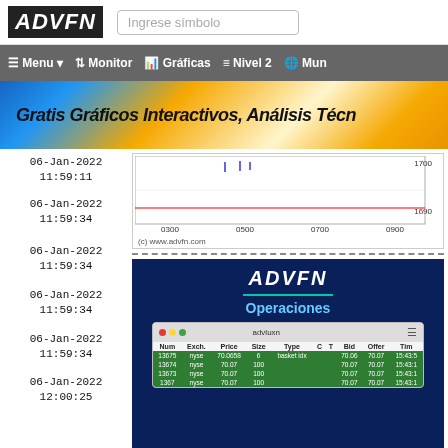[Figure (logo): ADVFN logo in black box with search input field]
Menu  Monitor  Gráficas  Nivel 2  Mun
[Figure (infographic): Banner: Gratis Gráficos Interactivos, Análisis Técn... on gold/blue gradient]
06-Jan-2022 11:59:11
[Figure (continuous-plot): Intraday price chart with red baseline and blue tick marks, x-axis: 0300, 0500, 0700, 0900, y-axis: 1690, 1700, copyright (c) www.advfn.com]
06-Jan-2022 11:59:34
06-Jan-2022 11:59:34
[Figure (infographic): ADVFN Operaciones advertisement on dark navy background with mini table screenshot showing trade data]
06-Jan-2022 11:59:34
06-Jan-2022 11:59:34
06-Jan-2022 12:00:25